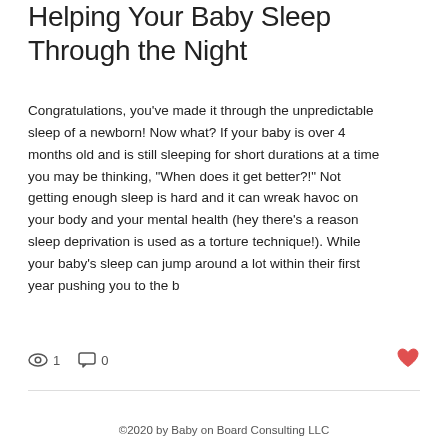Helping Your Baby Sleep Through the Night
Congratulations, you've made it through the unpredictable sleep of a newborn! Now what? If your baby is over 4 months old and is still sleeping for short durations at a time you may be thinking, “When does it get better?!” Not getting enough sleep is hard and it can wreak havoc on your body and your mental health (hey there’s a reason sleep deprivation is used as a torture technique!). While your baby’s sleep can jump around a lot within their first year pushing you to the b
©2020 by Baby on Board Consulting LLC